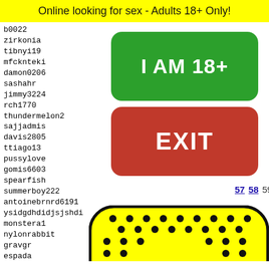Online looking for sex - Adults 18+ Only!
b0022
zirkonia
tibnyi19
mfcknteki
damon0206
sashahr
jimmy3224
rch1770
thundermelon2
sajjadmis
davis2805
ttiago13
pussylove
gomis6603
spearfish
summerboy222
antoinebrnrd6191
ysidgdhdidjsjshdi
monstera1
nylonrabbit
gravgr
espada
thepur
pepica
mtb198
epoxyn
[Figure (other): Green rounded rectangle button with white bold text 'I AM 18+']
[Figure (other): Red rounded rectangle button with white bold text 'EXIT']
57 58 59 60 61
[Figure (illustration): Yellow rounded rectangle with black dots pattern (paddle/racket shape) and a cartoon face with green bow-tie at the bottom]